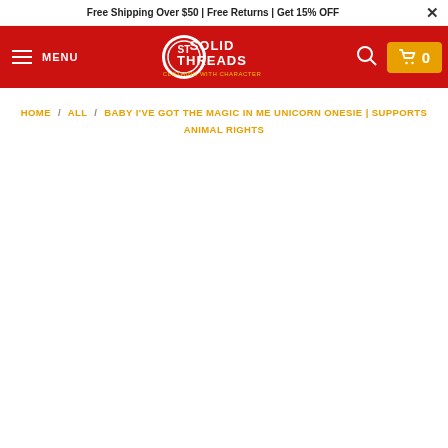Free Shipping Over $50 | Free Returns | Get 15% OFF
[Figure (logo): Solid Threads logo - red background with circular logo and text SOLID THREADS CLOTHING WITH CHARACTER]
HOME / ALL / BABY I'VE GOT THE MAGIC IN ME UNICORN ONESIE | SUPPORTS ANIMAL RIGHTS